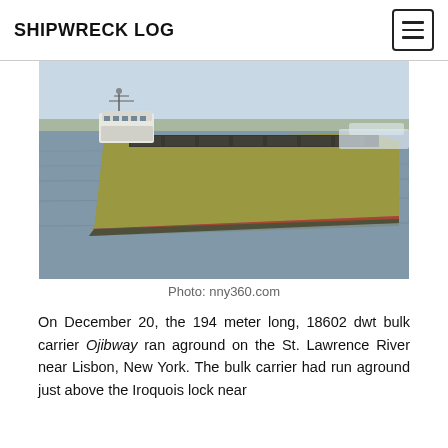SHIPWRECK LOG
[Figure (photo): Aerial photograph of bulk carrier Ojibway on water, showing a large Great Lakes-style bulk freighter with white bridge forward and long green/yellow hull, navigating a river with shoreline visible in background.]
Photo: nny360.com
On December 20, the 194 meter long, 18602 dwt bulk carrier Ojibway ran aground on the St. Lawrence River near Lisbon, New York. The bulk carrier had run aground just above the Iroquois lock near